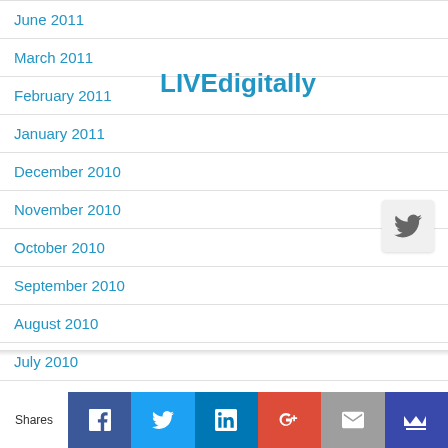June 2011
March 2011
LIVEdigitally
February 2011
January 2011
December 2010
November 2010
October 2010
September 2010
August 2010
July 2010
June 2010
May 2010
April 2010
Shares | Facebook | Twitter | LinkedIn | Google+ | Email | Crown